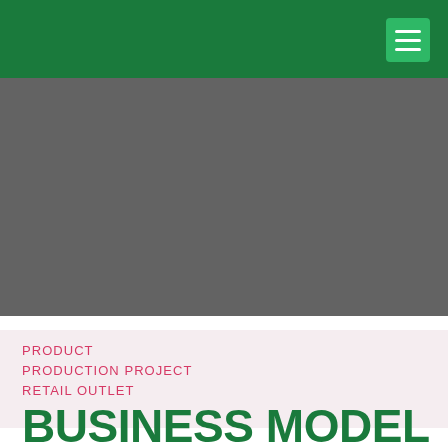[Figure (other): Dark green navigation header bar with a lighter green hamburger menu button in the top-right corner]
[Figure (photo): Gray rectangular image placeholder occupying the upper-center area of the page]
PRODUCT
PRODUCTION PROJECT
RETAIL OUTLET
BUSINESS MODEL